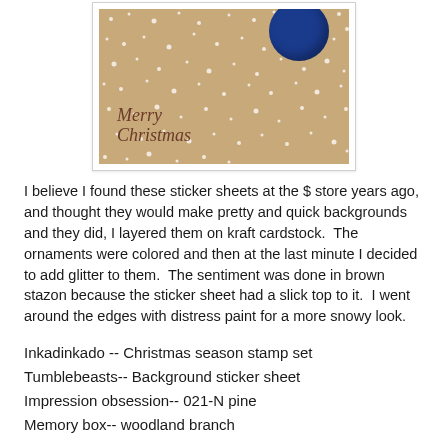[Figure (photo): A Christmas card with kraft brown cardstock background, white snowflake/star sticker sheet overlay, 'Merry Christmas' sentiment in brown ink, and a blue glittered ornament in the upper right corner.]
I believe I found these sticker sheets at the $ store years ago, and thought they would make pretty and quick backgrounds and they did, I layered them on kraft cardstock.  The ornaments were colored and then at the last minute I decided to add glitter to them.  The sentiment was done in brown stazon because the sticker sheet had a slick top to it.  I went around the edges with distress paint for a more snowy look.
Inkadinkado -- Christmas season stamp set
Tumblebeasts-- Background sticker sheet
Impression obsession-- 021-N pine
Memory box-- woodland branch
I hope you all have a chance to go to a Christmas eve service tonight, to me it just wouldn't be Christmas eve if I